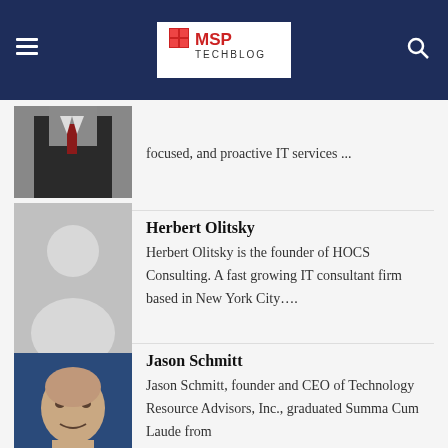MSP TechBlog
focused, and proactive IT services ...
Herbert Olitsky
Herbert Olitsky is the founder of HOCS Consulting. A fast growing IT consultant firm based in New York City….
Jason Schmitt
Jason Schmitt, founder and CEO of Technology Resource Advisors, Inc., graduated Summa Cum Laude from Bradley Univer...